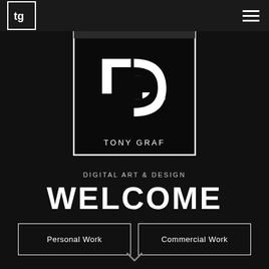tg | Tony Graf Design
[Figure (logo): Tony Graf design logo: white 'tg' lettermark monogram on black square background with white border, text 'TONY GRAF' below the monogram]
DIGITAL ART & DESIGN
WELCOME
Personal Work
Commercial Work